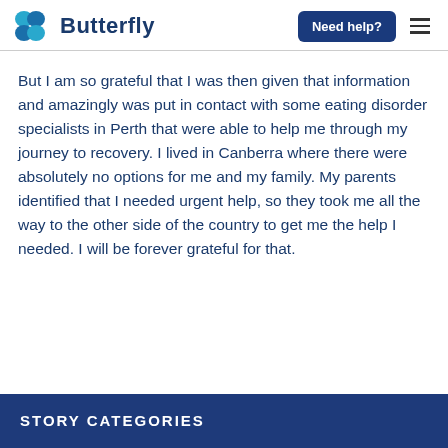Butterfly | Need help?
But I am so grateful that I was then given that information and amazingly was put in contact with some eating disorder specialists in Perth that were able to help me through my journey to recovery. I lived in Canberra where there were absolutely no options for me and my family. My parents identified that I needed urgent help, so they took me all the way to the other side of the country to get me the help I needed. I will be forever grateful for that.
STORY CATEGORIES